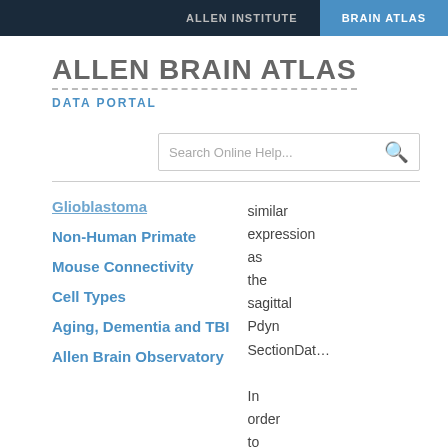ALLEN INSTITUTE  |  BRAIN ATLAS
ALLEN BRAIN ATLAS
DATA PORTAL
Glioblastoma
Non-Human Primate
Mouse Connectivity
Cell Types
Aging, Dementia and TBI
Allen Brain Observatory
similar expression as the sagittal Pdyn SectionData

In order to perform these